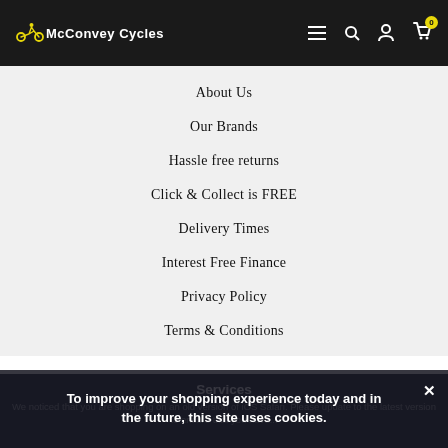McConvey Cycles
About Us
Our Brands
Hassle free returns
Click & Collect is FREE
Delivery Times
Interest Free Finance
Privacy Policy
Terms & Conditions
Services
To improve your shopping experience today and in the future, this site uses cookies.
We noticed that you are shopping on an old version of iOS Safari. Please update to the latest version to ensure that you have...